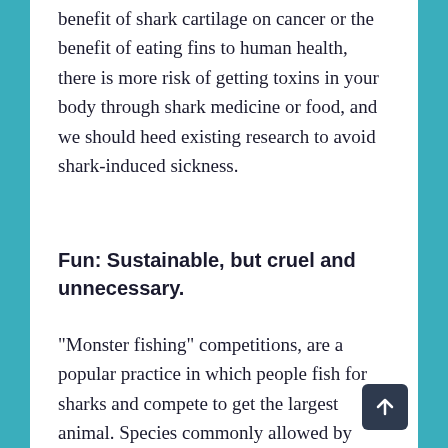benefit of shark cartilage on cancer or the benefit of eating fins to human health, there is more risk of getting toxins in your body through shark medicine or food, and we should heed existing research to avoid shark-induced sickness.
Fun: Sustainable, but cruel and unnecessary.
“Monster fishing” competitions, are a popular practice in which people fish for sharks and compete to get the largest animal. Species commonly allowed by competition rules are the porbeagle, shortfin mako, blue and thresher sharks. It can be argued that taking